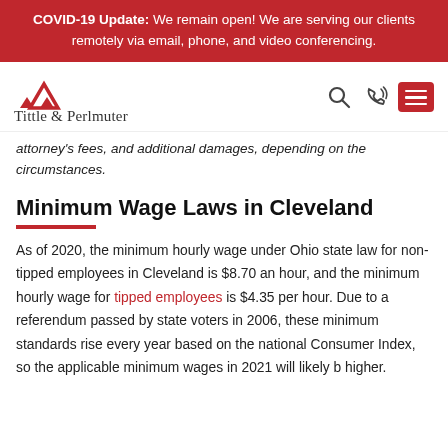COVID-19 Update: We remain open! We are serving our clients remotely via email, phone, and video conferencing.
[Figure (logo): Tittle & Perlmuter law firm logo with red triangle icon and firm name]
attorney's fees, and additional damages, depending on the circumstances.
Minimum Wage Laws in Cleveland
As of 2020, the minimum hourly wage under Ohio state law for non-tipped employees in Cleveland is $8.70 an hour, and the minimum hourly wage for tipped employees is $4.35 per hour. Due to a referendum passed by state voters in 2006, these minimum standards rise every year based on the national Consumer Index, so the applicable minimum wages in 2021 will likely be higher.